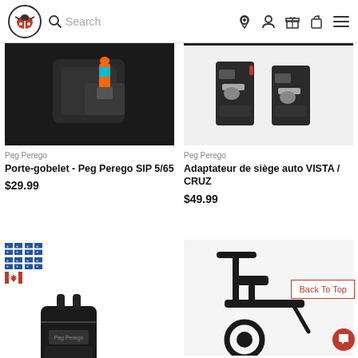Search header with logo, search bar, and icons
[Figure (photo): Peg Perego stroller cup holder with colorful toy bottle, black stroller, close-up shot]
Peg Perego
Porte-gobelet - Peg Perego SIP 5/65
$29.99
[Figure (photo): Two black Peg Perego car seat adapters for VISTA / CRUZ stroller, on white background]
Peg Perego
Adaptateur de siège auto VISTA / CRUZ
$49.99
[Figure (photo): Black Peg Perego travel bag with logo, standing upright]
[Figure (photo): Black scooter/ride-on toy with handlebars and wheels, partially visible]
Back To Top